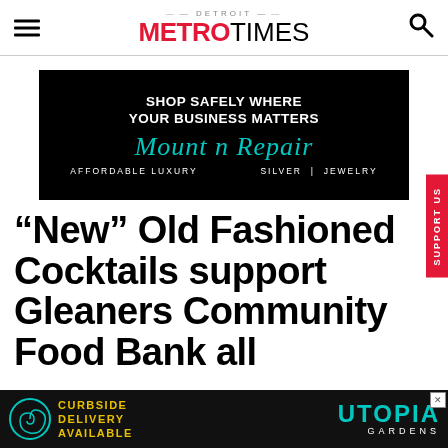Detroit Metro Times
[Figure (infographic): Advertisement: Shop Safely Where Your Business Matters - Mount n Repair - Affordable Luxury Silver Jewelry]
“New” Old Fashioned Cocktails support Gleaners Community Food Bank all
[Figure (infographic): Advertisement: Curbside Delivery Available - Utopia Gardens]